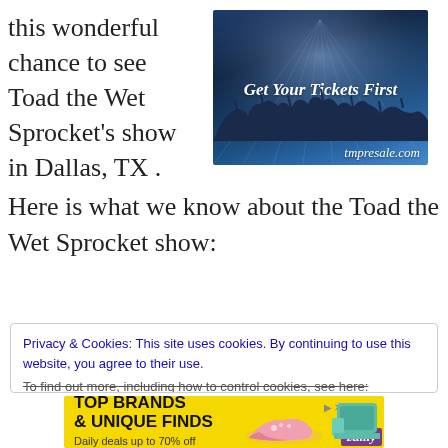this wonderful chance to see Toad the Wet Sprocket's show in Dallas, TX . Here is what we know about the Toad the Wet Sprocket show:
[Figure (photo): Advertisement banner for tmpresale.com reading 'Get Your Tickets First' with concert crowd silhouette and blue light rays background]
Privacy & Cookies: This site uses cookies. By continuing to use this website, you agree to their use.
To find out more, including how to control cookies, see here:
[Figure (infographic): Zulily advertisement banner with yellow background reading 'TOP BRANDS & UNIQUE FINDS - Daily deals up to 70% off' with images of a pink shoe and teal purse]